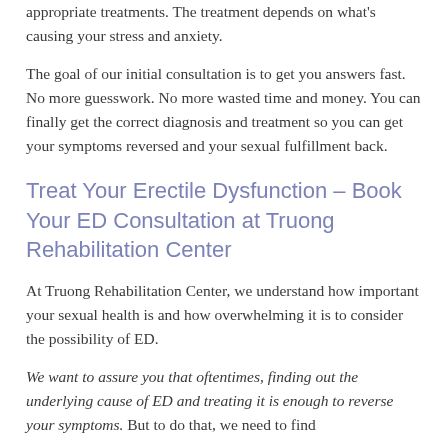appropriate treatments. The treatment depends on what's causing your stress and anxiety.
The goal of our initial consultation is to get you answers fast. No more guesswork. No more wasted time and money. You can finally get the correct diagnosis and treatment so you can get your symptoms reversed and your sexual fulfillment back.
Treat Your Erectile Dysfunction – Book Your ED Consultation at Truong Rehabilitation Center
At Truong Rehabilitation Center, we understand how important your sexual health is and how overwhelming it is to consider the possibility of ED.
We want to assure you that oftentimes, finding out the underlying cause of ED and treating it is enough to reverse your symptoms. But to do that, we need to find